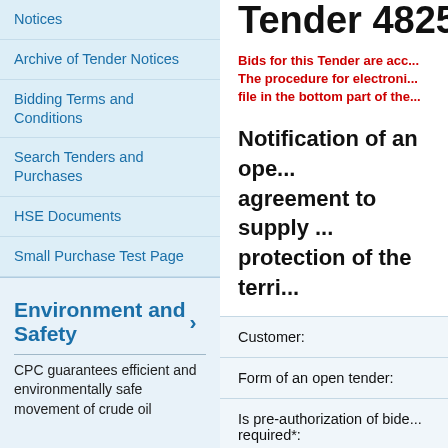Notices
Archive of Tender Notices
Bidding Terms and Conditions
Search Tenders and Purchases
HSE Documents
Small Purchase Test Page
Environment and Safety ›
CPC guarantees efficient and environmentally safe movement of crude oil
DBN ›
The Project is designed to increase the trunk pipeline
Tender 4825...
Bids for this Tender are acc... The procedure for electroni... file in the bottom part of the...
Notification of an ope... agreement to supply ... protection of the terri...
| Field | Value |
| --- | --- |
| Customer: |  |
| Form of an open tender: |  |
| Is pre-authorization of bide... required*: |  |
| Publications in mass medi... |  |